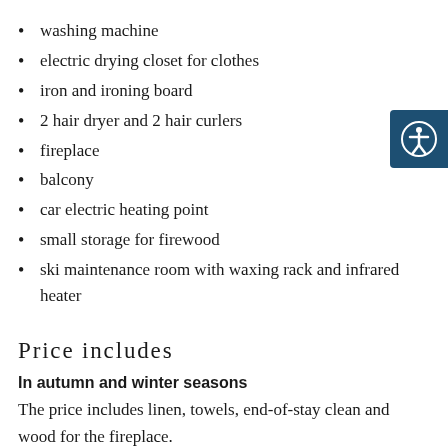washing machine
electric drying closet for clothes
iron and ironing board
2 hair dryer and 2 hair curlers
fireplace
balcony
car electric heating point
small storage for firewood
ski maintenance room with waxing rack and infrared heater
Price includes
In autumn and winter seasons
The price includes linen, towels, end-of-stay clean and wood for the fireplace.
In summertime